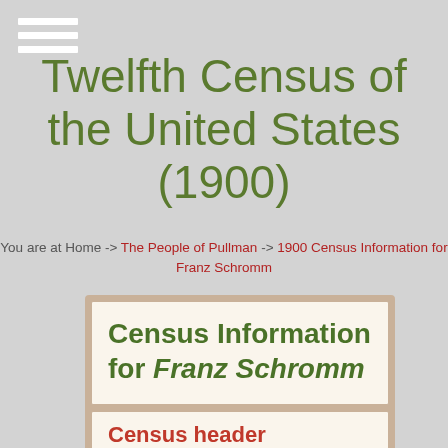Twelfth Census of the United States (1900)
You are at Home -> The People of Pullman -> 1900 Census Information for Franz Schromm
Census Information for Franz Schromm
Census header